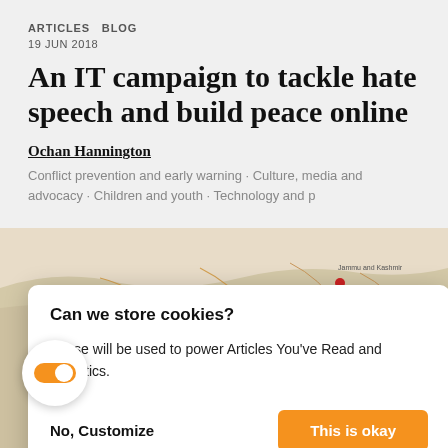ARTICLES  BLOG
19 JUN 2018
An IT campaign to tackle hate speech and build peace online
Ochan Hannington
Conflict prevention and early warning · Culture, media and advocacy · Children and youth · Technology and p
[Figure (screenshot): Cookie consent modal dialog with text 'Can we store cookies? These will be used to power Articles You've Read and Statistics.' with 'No, Customize' and orange 'This is okay' button]
[Figure (map): Map of South Asia (India region) with red dots marking locations, showing country borders and city labels]